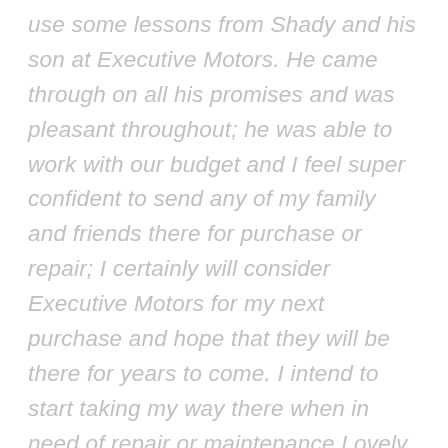use some lessons from Shady and his son at Executive Motors. He came through on all his promises and was pleasant throughout; he was able to work with our budget and I feel super confident to send any of my family and friends there for purchase or repair; I certainly will consider Executive Motors for my next purchase and hope that they will be there for years to come. I intend to start taking my way there when in need of repair or maintenance.Lovely , lovely people so wish them all the success they deserve!! Thank you again for standing above the competition and reinstilling confidence in auto dealers, as I didn't think sincere dealers still existed. Thank you from the bottom of my heart.